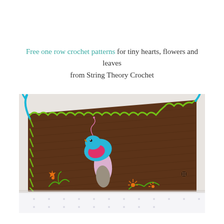Free one row crochet patterns for tiny hearts, flowers and leaves from String Theory Crochet
[Figure (photo): A brown crochet piece decorated with colorful embroidery: a blue bird with pink and magenta wing details perched on a pink/lavender stem with grey base, green vine swirls, orange star-shaped flowers, green chain stitch border along the top edge, and blue yarn ties on either side. The piece is photographed at an angle on a white background with a dotted grid paper beneath.]